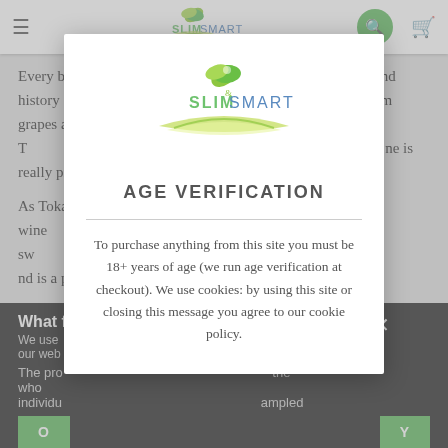SlimSmart navigation bar with logo, hamburger menu, search and cart icons
Every bottle of aszú ... Hungarian ... and history of winery ... known, that style wines made from grapes affected by noble rot are typical for this region. T... e percent o... ne is really pre...
As Tokaji ... quality, this wine ... the oldest sw... to celebrate... nd is a perfect d...
[Figure (screenshot): Age Verification modal dialog with SlimSmart logo, title 'AGE VERIFICATION', and text: 'To purchase anything from this site you must be 18+ years of age (we run age verification at checkout). We use cookies: by using this site or closing this message you agree to our cookie policy.']
We use... ence on our web... hat you The pro... the who... individual... ampled. What f... ious?
OK / Y buttons visible at bottom